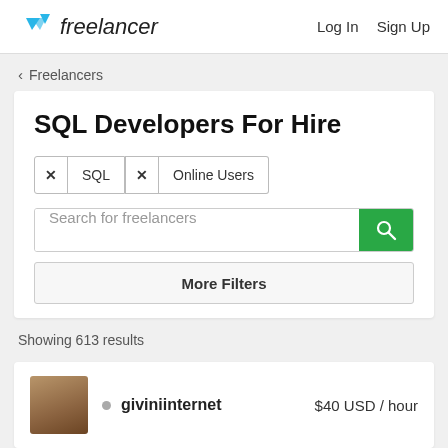freelancer   Log In   Sign Up
‹ Freelancers
SQL Developers For Hire
× SQL   × Online Users
Search for freelancers
More Filters
Showing 613 results
giviniinternet   $40 USD / hour